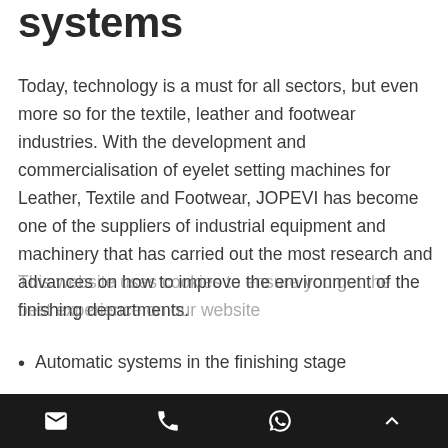systems
Today, technology is a must for all sectors, but even more so for the textile, leather and footwear industries. With the development and commercialisation of eyelet setting machines for Leather, Textile and Footwear, JOPEVI has become one of the suppliers of industrial equipment and machinery that has carried out the most research and advances on how to improve the environment of the finishing departments.
Automatic systems in the finishing stage
Automatic eyelet setting machines improve productivity and operator performance. This is the easiest way to attach eyelets and hooks to leather
[email icon] [phone icon] [whatsapp icon] [up arrow icon]